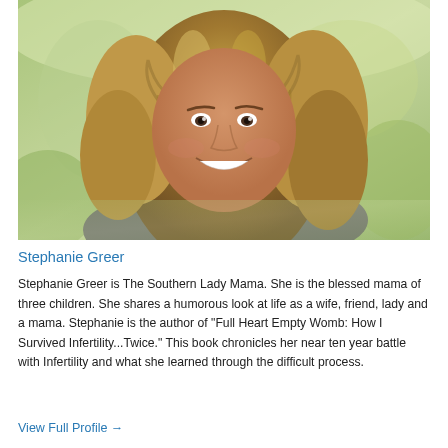[Figure (photo): Portrait photo of a smiling woman with curly blonde/brown hair wearing a dark grey top with a statement necklace, photographed outdoors with a blurred green background.]
Stephanie Greer
Stephanie Greer is The Southern Lady Mama. She is the blessed mama of three children. She shares a humorous look at life as a wife, friend, lady and a mama. Stephanie is the author of "Full Heart Empty Womb: How I Survived Infertility...Twice." This book chronicles her near ten year battle with Infertility and what she learned through the difficult process.
View Full Profile →